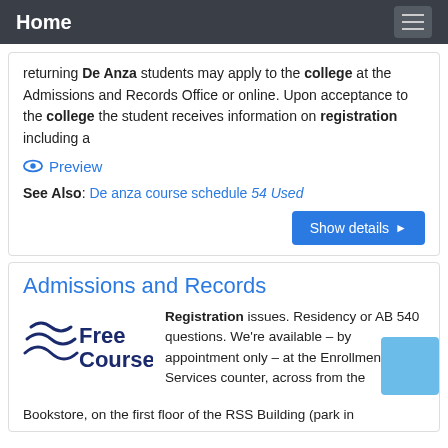Home
returning De Anza students may apply to the college at the Admissions and Records Office or online. Upon acceptance to the college the student receives information on registration including a
Preview
See Also: De anza course schedule 54 Used
Show details
Admissions and Records
[Figure (logo): Free Courses logo with stylized wave lines and text 'Free Courses']
Registration issues. Residency or AB 540 questions. We're available – by appointment only – at the Enrollment Services counter, across from the Bookstore, on the first floor of the RSS Building (park in